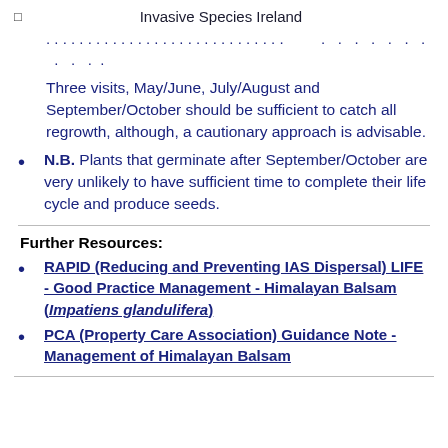Invasive Species Ireland
Three visits, May/June, July/August and September/October should be sufficient to catch all regrowth, although, a cautionary approach is advisable.
N.B. Plants that germinate after September/October are very unlikely to have sufficient time to complete their life cycle and produce seeds.
Further Resources:
RAPID (Reducing and Preventing IAS Dispersal) LIFE - Good Practice Management - Himalayan Balsam (Impatiens glandulifera)
PCA (Property Care Association) Guidance Note - Management of Himalayan Balsam